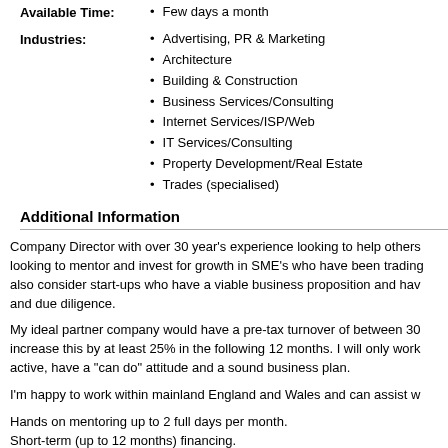Few days a month
Advertising, PR & Marketing
Architecture
Building & Construction
Business Services/Consulting
Internet Services/ISP/Web
IT Services/Consulting
Property Development/Real Estate
Trades (specialised)
Additional Information
Company Director with over 30 year's experience looking to help others looking to mentor and invest for growth in SME's who have been trading also consider start-ups who have a viable business proposition and have and due diligence.
My ideal partner company would have a pre-tax turnover of between 30 increase this by at least 25% in the following 12 months. I will only work active, have a "can do" attitude and a sound business plan.
I'm happy to work within mainland England and Wales and can assist w
Hands on mentoring up to 2 full days per month.
Short-term (up to 12 months) financing.
Increase supplier credit limits.
Source new suppliers.